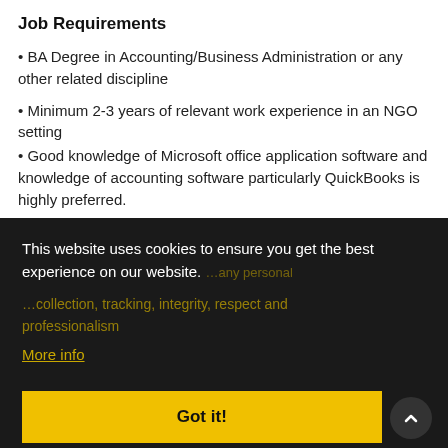Job Requirements
• BA Degree in Accounting/Business Administration or any other related discipline
• Minimum 2-3 years of relevant work experience in an NGO setting
• Good knowledge of Microsoft office application software and knowledge of accounting software particularly QuickBooks is highly preferred.
This website uses cookies to ensure you get the best experience on our website.
More info
Got it!
• Good interpersonal skills
• Honest and trustworthy